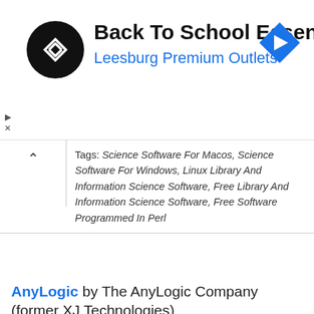[Figure (screenshot): Advertisement banner: Back To School Essentials - Leesburg Premium Outlets with logo and navigation icon]
Tags: Science Software For Macos, Science Software For Windows, Linux Library And Information Science Software, Free Library And Information Science Software, Free Software Programmed In Perl
AnyLogic by The AnyLogic Company (former XJ Technologies)
Crossplatform
AnyLogic is a multimethod simulation modeling tool developed by The AnyLogic Company (former XJ Technologies). It supports agent-based, discrete event, and system dynamics simulation methodologies....